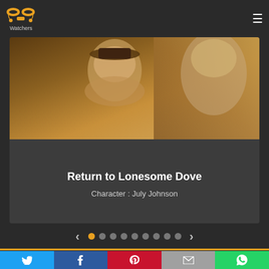PP Watchers
[Figure (photo): Movie promotional still from 'Return to Lonesome Dove' showing a young cowboy in western attire with another figure partially visible]
Return to Lonesome Dove
Character : July Johnson
[Figure (infographic): Carousel navigation: left arrow, 9 dots (first dot active/orange), right arrow]
[Figure (infographic): Social share bar with Twitter, Facebook, Pinterest, Email, and WhatsApp buttons]